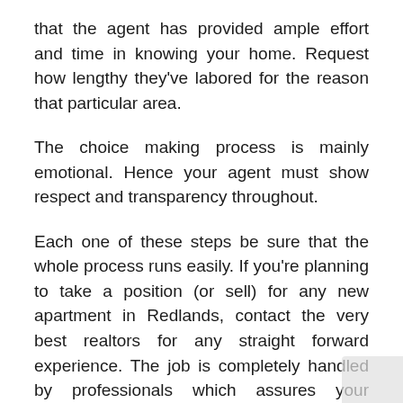that the agent has provided ample effort and time in knowing your home. Request how lengthy they've labored for the reason that particular area.
The choice making process is mainly emotional. Hence your agent must show respect and transparency throughout.
Each one of these steps be sure that the whole process runs easily. If you're planning to take a position (or sell) for any new apartment in Redlands, contact the very best realtors for any straight forward experience. The job is completely handled by professionals which assures your reassurance.